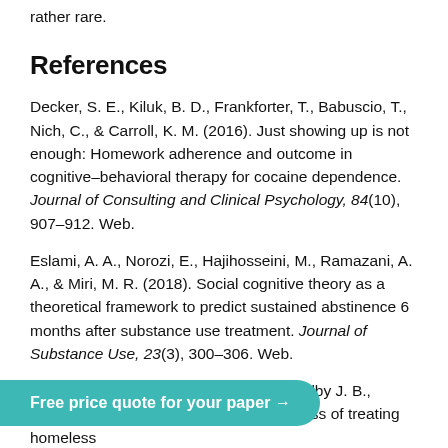rather rare.
References
Decker, S. E., Kiluk, B. D., Frankforter, T., Babuscio, T., Nich, C., & Carroll, K. M. (2016). Just showing up is not enough: Homework adherence and outcome in cognitive–behavioral therapy for cocaine dependence. Journal of Consulting and Clinical Psychology, 84(10), 907–912. Web.
Eslami, A. A., Norozi, E., Hajihosseini, M., Ramazani, A. A., & Miri, M. R. (2018). Social cognitive theory as a theoretical framework to predict sustained abstinence 6 months after substance use treatment. Journal of Substance Use, 23(3), 300–306. Web.
Mennemeyer S. T., Schumacher J. E., Milby J. B., Wallace D. (2017). Costs and effectiveness of treating homeless ... alternative ... e Journal of
Free price quote for your paper →